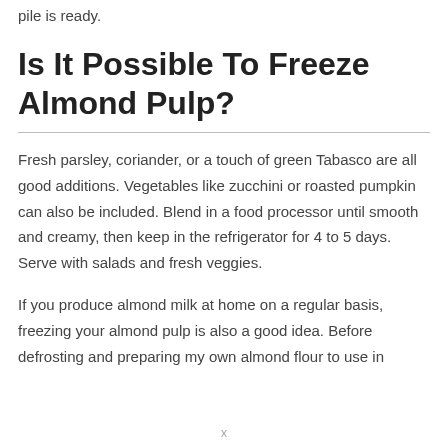pile is ready.
Is It Possible To Freeze Almond Pulp?
Fresh parsley, coriander, or a touch of green Tabasco are all good additions. Vegetables like zucchini or roasted pumpkin can also be included. Blend in a food processor until smooth and creamy, then keep in the refrigerator for 4 to 5 days. Serve with salads and fresh veggies.
If you produce almond milk at home on a regular basis, freezing your almond pulp is also a good idea. Before defrosting and preparing my own almond flour to use in